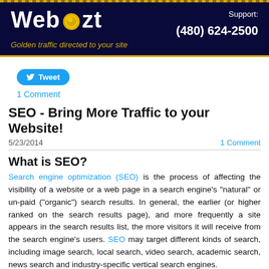[Figure (logo): Webozt banner with gold coins logo, tagline 'Golden traffic directed to your site', and support number (480) 624-2500 on dark navy background]
Tweet
1 Comment
SEO - Bring More Traffic to your Website!
5/23/2014
1 Comment
What is SEO?
Search engine optimization (SEO) is the process of affecting the visibility of a website or a web page in a search engine's "natural" or un-paid ("organic") search results. In general, the earlier (or higher ranked on the search results page), and more frequently a site appears in the search results list, the more visitors it will receive from the search engine's users. SEO may target different kinds of search, including image search, local search, video search, academic search, news search and industry-specific vertical search engines.